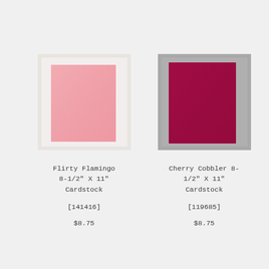[Figure (photo): Light pink cardstock sheet on white background]
[Figure (photo): Dark crimson/cherry cardstock sheet on gray background]
Flirty Flamingo 8-1/2" X 11" Cardstock
[141416]
$8.75
Cherry Cobbler 8-1/2" X 11" Cardstock
[119685]
$8.75